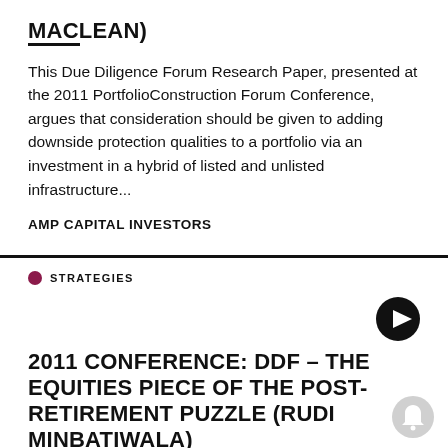MACLEAN)
This Due Diligence Forum Research Paper, presented at the 2011 PortfolioConstruction Forum Conference, argues that consideration should be given to adding downside protection qualities to a portfolio via an investment in a hybrid of listed and unlisted infrastructure...
AMP CAPITAL INVESTORS
STRATEGIES
2011 CONFERENCE: DDF – THE EQUITIES PIECE OF THE POST-RETIREMENT PUZZLE (RUDI MINBATIWALA)
This Due Diligence Forum Research Paper, presented at the 2011 PortfolioConstruction Forum Conference,